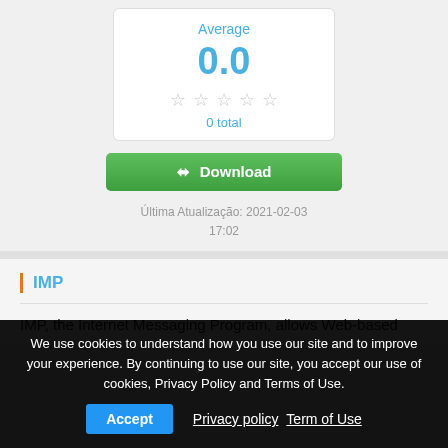Average
0.0
0 total
Download
Última Atualização: 2021-02-03 17:02
IMP
IMP, the Internet Messaging Program, allows Web-based
We use cookies to understand how you use our site and to improve your experience. By continuing to use our site, you accept our use of cookies, Privacy Policy and Terms of Use.
Accept  Privacy policy  Term of Use